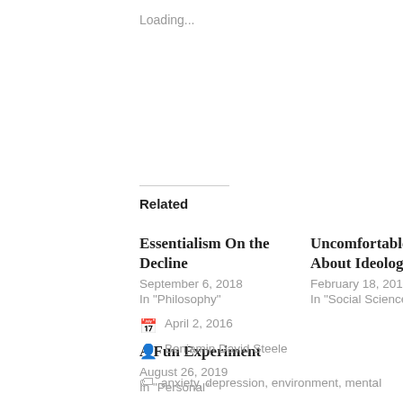Loading...
Related
Essentialism On the Decline
September 6, 2018
In "Philosophy"
Uncomfortable Questions About Ideology
February 18, 2016
In "Social Sciences"
A Fun Experiment
August 26, 2019
In "Personal"
April 2, 2016
Benjamin David Steele
anxiety, depression, environment, mental